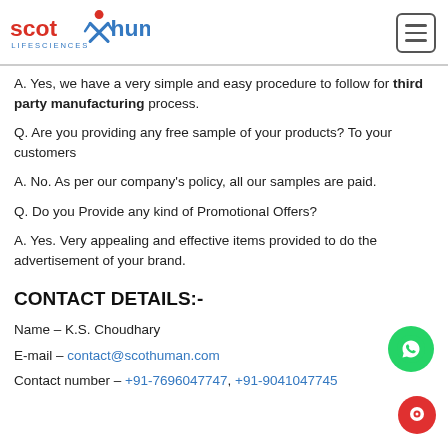[Figure (logo): Scot Human Life Sciences logo with red and blue text and stylized figure icon]
A. Yes, we have a very simple and easy procedure to follow for third party manufacturing process.
Q. Are you providing any free sample of your products? To your customers
A. No. As per our company's policy, all our samples are paid.
Q. Do you Provide any kind of Promotional Offers?
A. Yes. Very appealing and effective items provided to do the advertisement of your brand.
CONTACT DETAILS:-
Name – K.S. Choudhary
E-mail – contact@scothuman.com
Contact number – +91-7696047747, +91-9041047745